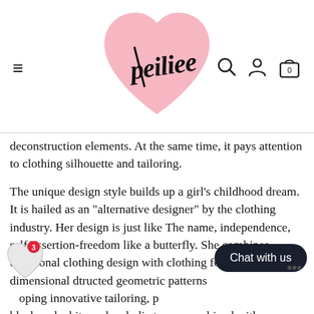[Figure (logo): Peiliee brand logo: pink heart shape with cursive 'peiliee' script text overlaid in black]
deconstruction elements. At the same time, it pays attention to clothing silhouette and tailoring.
The unique design style builds up a girl's childhood dream. It is hailed as an "alternative designer" by the clothing industry. Her design is just like The name, independence, self-assertion-freedom like a butterfly. She combines traditional clothing design with clothing folds and three-dimensional deconstructed geometric patterns developing innovative tailoring, promoting black and white melancholic tones, combined with...